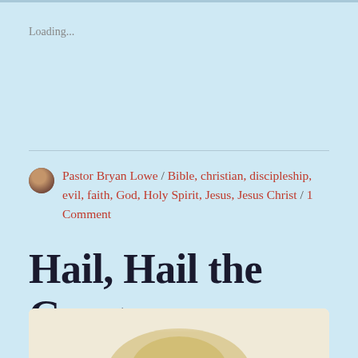Loading...
Pastor Bryan Lowe / Bible, christian, discipleship, evil, faith, God, Holy Spirit, Jesus, Jesus Christ / 1 Comment
Hail, Hail the Gangs All Here!
[Figure (photo): Partial photo of an object with golden/yellow tones visible at the bottom of the page, cropped]